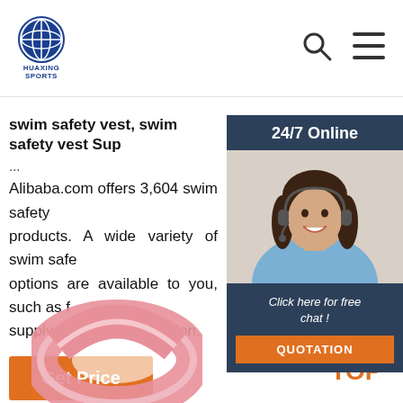HUAXING SPORTS
swim safety vest, swim safety vest Sup...
Alibaba.com offers 3,604 swim safety products. A wide variety of swim safety options are available to you, such as f supply type, and decoration.
[Figure (photo): Customer service representative woman with headset smiling, with '24/7 Online' header and 'Click here for free chat! QUOTATION' button overlay]
[Figure (photo): Pink swim safety vest/ring product partially visible at bottom of page]
[Figure (infographic): Orange TOP button with dots above it]